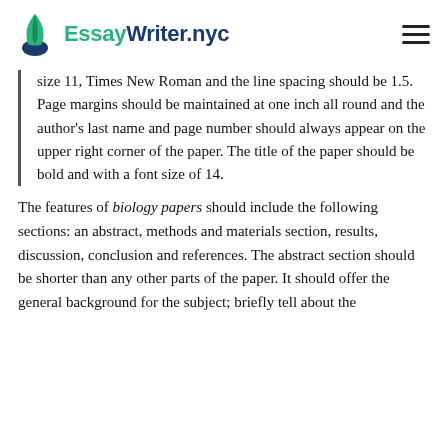EssayWriter.nyc
size 11, Times New Roman and the line spacing should be 1.5. Page margins should be maintained at one inch all round and the author's last name and page number should always appear on the upper right corner of the paper. The title of the paper should be bold and with a font size of 14.
The features of biology papers should include the following sections: an abstract, methods and materials section, results, discussion, conclusion and references. The abstract section should be shorter than any other parts of the paper. It should offer the general background for the subject; briefly tell about the